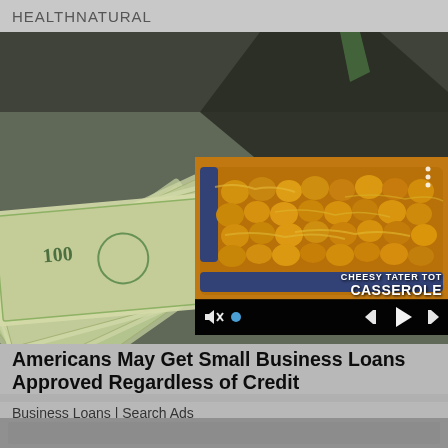HEALTHNATURAL
[Figure (photo): Person in suit holding out a fan of US $100 dollar bills, with a video overlay showing a casserole dish of cheesy tater tot casserole with video player controls]
Americans May Get Small Business Loans Approved Regardless of Credit
Business Loans | Search Ads
[Figure (photo): Bottom strip showing a partially visible image, likely another article thumbnail]